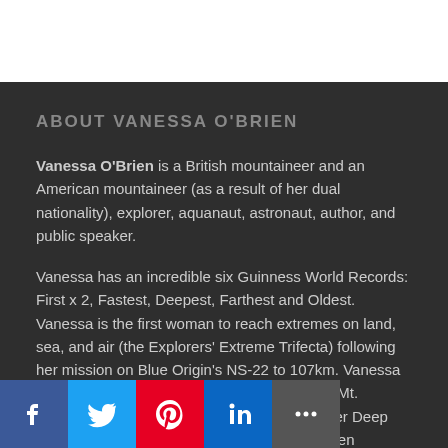ABOUT VANESSA O'BRIEN
Vanessa O'Brien is a British mountaineer and an American mountaineer (as a result of her dual nationality), explorer, aquanaut, astronaut, author, and public speaker.
Vanessa has an incredible six Guinness World Records: First x 2, Fastest, Deepest, Farthest and Oldest. Vanessa is the first woman to reach extremes on land, sea, and air (the Explorers' Extreme Trifecta) following her mission on Blue Origin's NS-22 to 107km. Vanessa was the first woman to reach earth's highest (Mt. Everest 8,848m) and lowest points (Challenger Deep 10,925m), the fastest woman to climb the seven summits in 295 days, and the first person to reach nearest to and farthest from the earth's core (Challenger Deep and tho summit of Chimborazo.) Vanessa is the first woman to complete the Four Poles Challenge, going